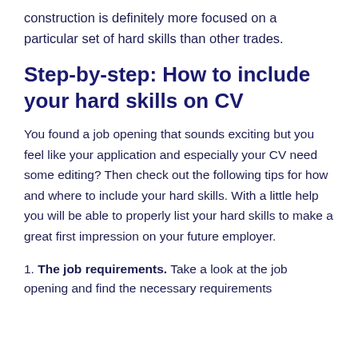construction is definitely more focused on a particular set of hard skills than other trades.
Step-by-step: How to include your hard skills on CV
You found a job opening that sounds exciting but you feel like your application and especially your CV need some editing? Then check out the following tips for how and where to include your hard skills. With a little help you will be able to properly list your hard skills to make a great first impression on your future employer.
1. The job requirements. Take a look at the job opening and find the necessary requirements